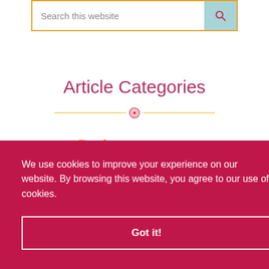[Figure (screenshot): Search bar with text 'Search this website' and a teal search button with magnifying glass icon]
Article Categories
[Figure (other): Decorative horizontal divider with circular ornament in the center]
Business
Sales
We use cookies to improve your experience on our website. By browsing this website, you agree to our use of cookies.
Got it!